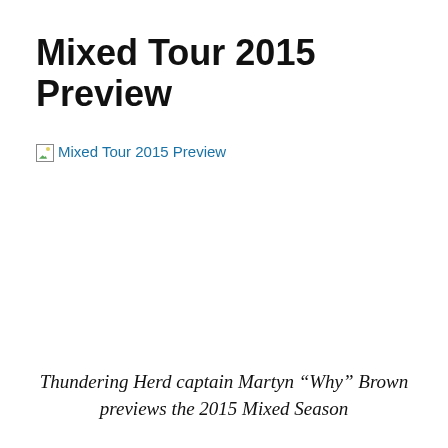Mixed Tour 2015 Preview
[Figure (photo): Broken image placeholder with alt text: Mixed Tour 2015 Preview]
Thundering Herd captain Martyn “Why” Brown previews the 2015 Mixed Season
Spring is upon us which means club ultimate is